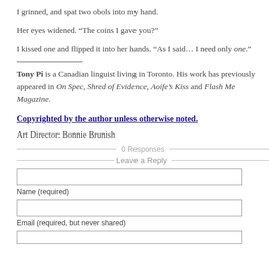I grinned, and spat two obols into my hand.
Her eyes widened. “The coins I gave you?”
I kissed one and flipped it into her hands. “As I said… I need only one.”
Tony Pi is a Canadian linguist living in Toronto. His work has previously appeared in On Spec, Shred of Evidence, Aoife’s Kiss and Flash Me Magazine.
Copyrighted by the author unless otherwise noted.
Art Director: Bonnie Brunish
0 Responses
Leave a Reply
Name (required)
Email (required, but never shared)